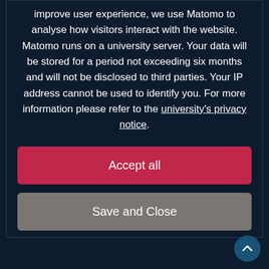improve user experience, we use Matomo to analyse how visitors interact with the website. Matomo runs on a university server. Your data will be stored for a period not exceeding six months and will not be disclosed to third parties. Your IP address cannot be used to identify you. For more information please refer to the university's privacy notice.
Accept all
Save and Close